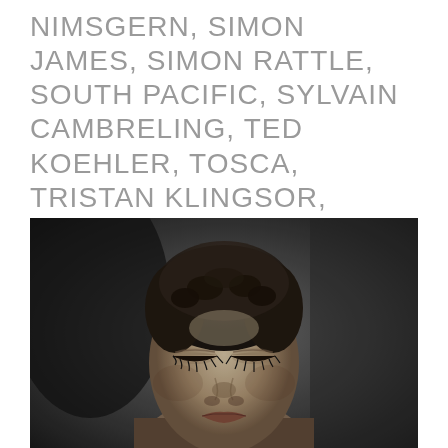NIMSGERN, SIMON JAMES, SIMON RATTLE, SOUTH PACIFIC, SYLVAIN CAMBRELING, TED KOEHLER, TOSCA, TRISTAN KLINGSOR, WERTHER, WOLFGANG AMADEUS MOZART
[Figure (photo): Black and white portrait photograph of a woman with short natural hair, eyes closed, in a serene, contemplative pose. The image is high contrast monochrome.]